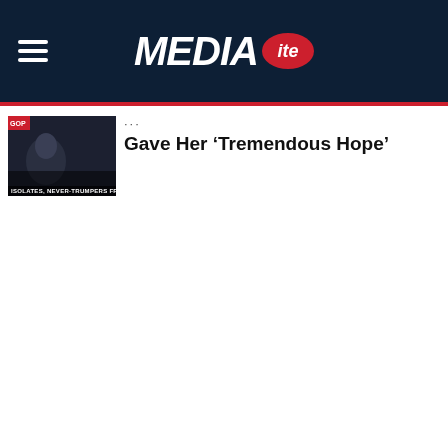MEDIAITE
[Figure (screenshot): Thumbnail image of a political figure at a podium, with a chyron reading 'ISOLATES, NEVER-TRUMPERS FROM THE GO']
Gave Her ‘Tremendous Hope’